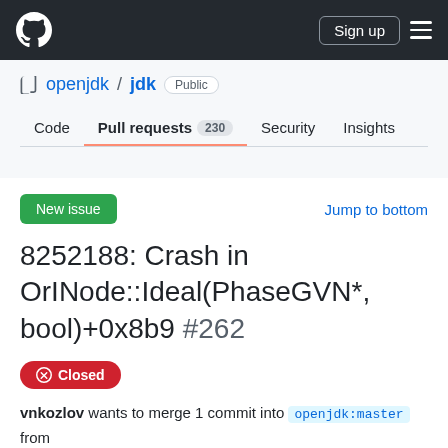GitHub navigation bar with logo, Sign up button, and hamburger menu
openjdk / jdk  Public
Code  Pull requests 230  Security  Insights
New issue   Jump to bottom
8252188: Crash in OrINode::Ideal(PhaseGVN*, bool)+0x8b9 #262
Closed
vnkozlov wants to merge 1 commit into openjdk:master from vnkozlov:JDK-8252188